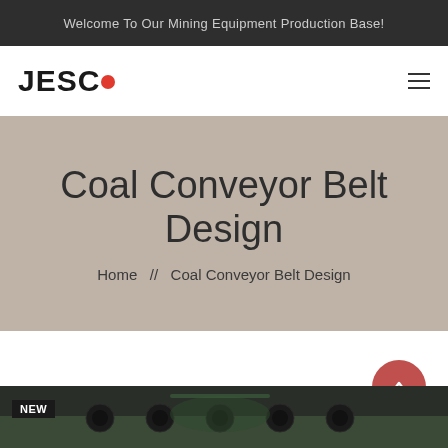Welcome To Our Mining Equipment Production Base!
[Figure (logo): JESCO logo with red dot replacing the O in JESCO]
Coal Conveyor Belt Design
Home  //  Coal Conveyor Belt Design
[Figure (photo): Mining conveyor belt equipment photo with NEW badge in bottom-left corner]